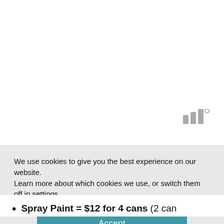[Figure (logo): Three vertical gray bars with a small superscript circle, resembling a stylized logo in the upper right area]
We use cookies to give you the best experience on our website.
Learn more about which cookies we use, or switch them off in settings.
Accept
Spray Paint = $12 for 4 cans (2 can